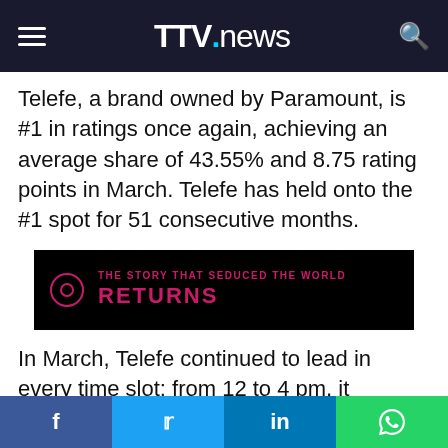TTV.news
Telefe, a brand owned by Paramount, is #1 in ratings once again, achieving an average share of 43.55% and 8.75 rating points in March. Telefe has held onto the #1 spot for 51 consecutive months.
[Figure (other): Advertisement banner: black background with pink/magenta text reading 'THE STORY THAT SEDUCED THE WORLD' and 'RETURNS' in large letters, with a circular record/play icon on the left.]
In March, Telefe continued to lead in every time slot: from 12 to 4 pm, it captured 38.74% share and 6.77 rating points; from 4 pm to 8
f  t  in  WhatsApp